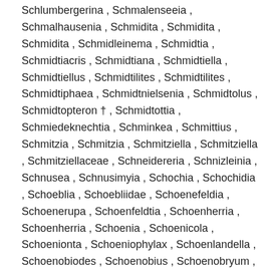Schlumbergerina , Schmalenseeia , Schmalhausenia , Schmidita , Schmidita , Schmidita , Schmidleinema , Schmidtia , Schmidtiacris , Schmidtiana , Schmidtiella , Schmidtiellus , Schmidtilites , Schmidtilites , Schmidtiphaea , Schmidtnielsenia , Schmidtolus , Schmidtopteron † , Schmidtottia , Schmiedeknechtia , Schminkea , Schmittius , Schmitzia , Schmitzia , Schmitziella , Schmitziella , Schmitziellaceae , Schneidereria , Schnizleinia , Schnusea , Schnusimyia , Schochia , Schochidia , Schoeblia , Schoebliidae , Schoenefeldia , Schoenerupa , Schoenfeldtia , Schoenherria , Schoenherria , Schoenia , Schoenicola , Schoenionta , Schoeniophylax , Schoenlandella , Schoenobiodes , Schoenobius , Schoenobryum , Schoenocaulon , Schoenocephalium , Schoenolaena , Schoenolirion , Schoenomyza , Schoenomyzina , Schoenophilus , Schoenoplectiella , Schoenoplectus ,